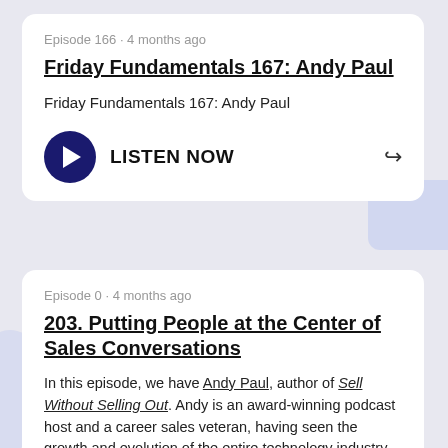Episode 166 · 4 months ago
Friday Fundamentals 167: Andy Paul
Friday Fundamentals 167: Andy Paul
LISTEN NOW
Episode 0 · 4 months ago
203. Putting People at the Center of Sales Conversations
In this episode, we have Andy Paul, author of Sell Without Selling Out. Andy is an award-winning podcast host and a career sales veteran, having seen the growth and evolution of the entire technology industry. Join us for a fascinating conversation about how a more buyer-centric sales process leads to more sales.